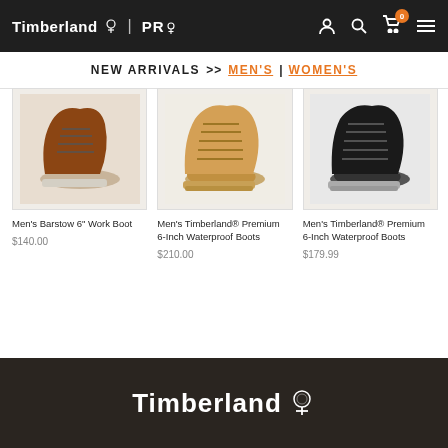Timberland PRO
NEW ARRIVALS >> MEN'S | WOMEN'S
[Figure (photo): Men's brown leather work boot – Men's Barstow 6" Work Boot]
Men's Barstow 6" Work Boot
$140.00
[Figure (photo): Men's tan/wheat nubuck boot – Men's Timberland® Premium 6-Inch Waterproof Boots]
Men's Timberland® Premium 6-Inch Waterproof Boots
$210.00
[Figure (photo): Men's black leather boot – Men's Timberland® Premium 6-Inch Waterproof Boots]
Men's Timberland® Premium 6-Inch Waterproof Boots
$179.99
Timberland